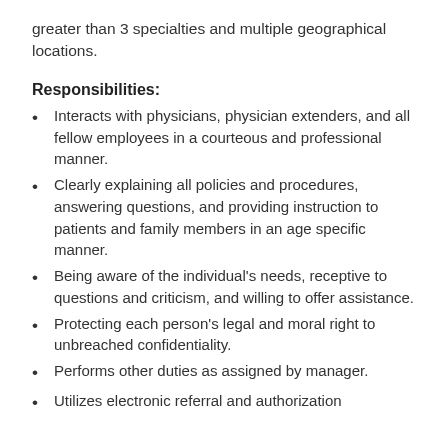greater than 3 specialties and multiple geographical locations.
Responsibilities:
Interacts with physicians, physician extenders, and all fellow employees in a courteous and professional manner.
Clearly explaining all policies and procedures, answering questions, and providing instruction to patients and family members in an age specific manner.
Being aware of the individual's needs, receptive to questions and criticism, and willing to offer assistance.
Protecting each person's legal and moral right to unbreached confidentiality.
Performs other duties as assigned by manager.
Utilizes electronic referral and authorization